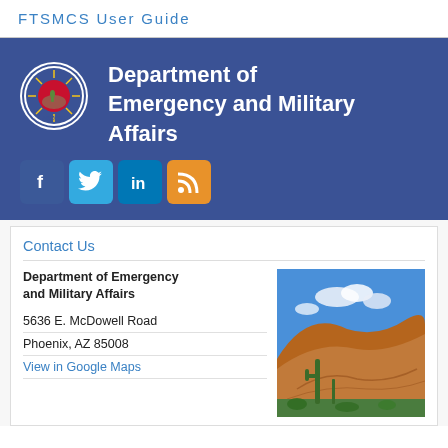FTSMCS User Guide
Department of Emergency and Military Affairs
[Figure (logo): Arizona Department of Emergency and Military Affairs circular seal/logo]
[Figure (infographic): Social media icons: Facebook, Twitter, LinkedIn, RSS]
Contact Us
Department of Emergency and Military Affairs
5636 E. McDowell Road
Phoenix, AZ 85008
View in Google Maps
[Figure (photo): Photo of Arizona desert landscape with red rock hills, cactus, blue sky and clouds]